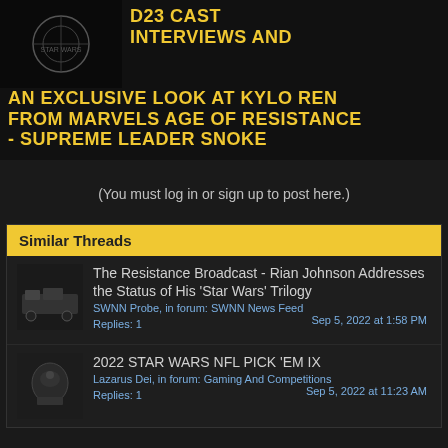[Figure (screenshot): Thumbnail image with dark background showing a circular logo/emblem]
D23 CAST INTERVIEWS AND AN EXCLUSIVE LOOK AT KYLO REN FROM MARVELS AGE OF RESISTANCE - SUPREME LEADER SNOKE
(You must log in or sign up to post here.)
Similar Threads
[Figure (photo): Small thumbnail showing dark vehicles/equipment]
The Resistance Broadcast - Rian Johnson Addresses the Status of His 'Star Wars' Trilogy
SWNN Probe, in forum: SWNN News Feed
Replies: 1
Sep 5, 2022 at 1:58 PM
[Figure (photo): Small thumbnail showing a stormtrooper helmet or vehicle]
2022 STAR WARS NFL PICK 'EM IX
Lazarus Dei, in forum: Gaming And Competitions
Replies: 1
Sep 5, 2022 at 11:23 AM